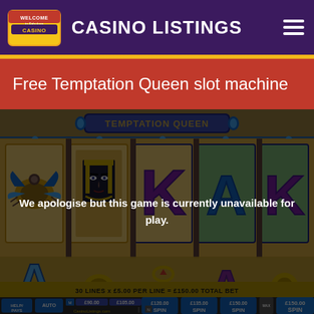CASINO LISTINGS
Free Temptation Queen slot machine
[Figure (screenshot): Temptation Queen slot machine game screenshot showing Egyptian-themed slot reels with scarab, Cleopatra, K, A, K symbols, bottom betting bar showing 30 LINES x £5.00 PER LINE = £150.00 TOTAL BET with SPIN buttons, overlaid with dark semi-transparent message.]
We apologise but this game is currently unavailable for play.